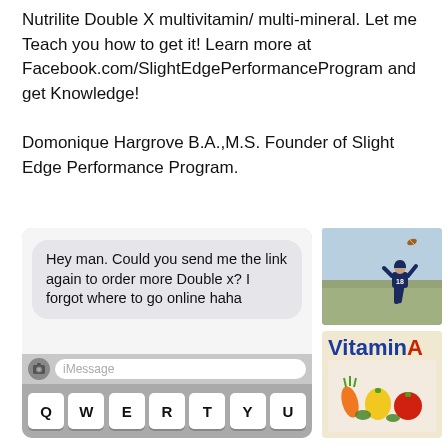Nutrilite Double X multivitamin/ multi-mineral. Let me Teach you how to get it! Learn more at Facebook.com/SlightEdgePerformanceProgram and get Knowledge!

Domonique Hargrove B.A.,M.S. Founder of Slight Edge Performance Program.
[Figure (screenshot): Screenshot of an iPhone iMessage thread showing a text bubble: 'Hey man. Could you send me the link again to order more Double x? I forgot where to go online haha', with iMessage input bar and QWERTY keyboard shown below.]
[Figure (photo): Photo of a football player wearing jersey #18 leaping to catch a football, outdoors on a field.]
[Figure (infographic): Vitamin A graphic with bold blue text 'Vitamin' and red 'A', with colorful vegetables (carrots, peppers, tomatoes) below.]